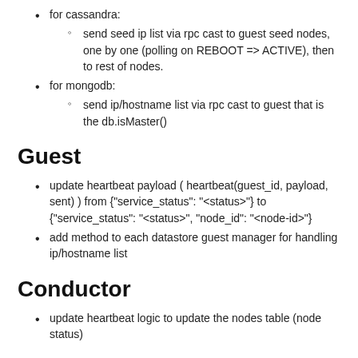for cassandra:
send seed ip list via rpc cast to guest seed nodes, one by one (polling on REBOOT => ACTIVE), then to rest of nodes.
for mongodb:
send ip/hostname list via rpc cast to guest that is the db.isMaster()
Guest
update heartbeat payload ( heartbeat(guest_id, payload, sent) ) from {"service_status": "<status>"} to {"service_status": "<status>", "node_id": "<node-id>"}
add method to each datastore guest manager for handling ip/hostname list
Conductor
update heartbeat logic to update the nodes table (node status)